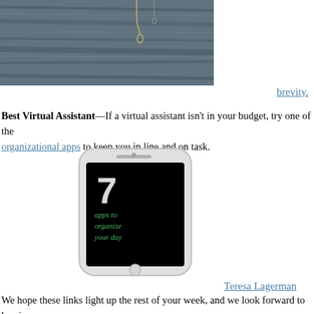[Figure (photo): Photo of a wooden surface texture with what appears to be a small jewelry item (earring or charm) visible at the top]
brevity.
Best Virtual Assistant—If a virtual assistant isn't in your budget, try one of the organizational apps to keep you in line and on task.
[Figure (screenshot): Image of a smartphone (iPhone) displaying an app screen with '7 apps to organize your day' text on a black background with the number 7 prominent]
Teresa Lagerman
We hope these links light up the rest of your week, and we look forward to hearing what's been lighting you up lately! 🙂